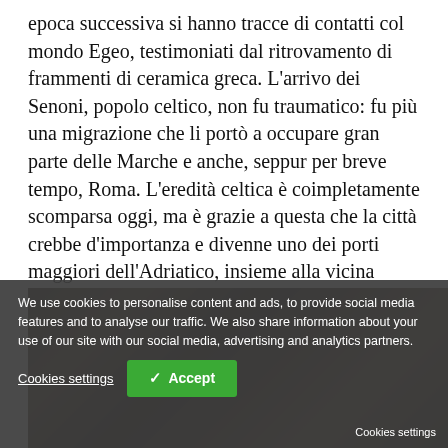epoca successiva si hanno tracce di contatti col mondo Egeo, testimoniati dal ritrovamento di frammenti di ceramica greca. L'arrivo dei Senoni, popolo celtico, non fu traumatico: fu più una migrazione che li portò a occupare gran parte delle Marche e anche, seppur per breve tempo, Roma. L'eredità celtica è coimpletamente scomparsa oggi, ma è grazie a questa che la città crebbe d'importanza e divenne uno dei porti maggiori dell'Adriatico, insieme alla vicina Ravenna. Questa crescita, sancì la fine di un'altra città importante, posta sulla foce del Po, Spina.
[Figure (photo): Partially visible photograph, appears dark/dimly lit, showing what looks like a group scene]
We use cookies to personalise content and ads, to provide social media features and to analyse our traffic. We also share information about your use of our site with our social media, advertising and analytics partners.